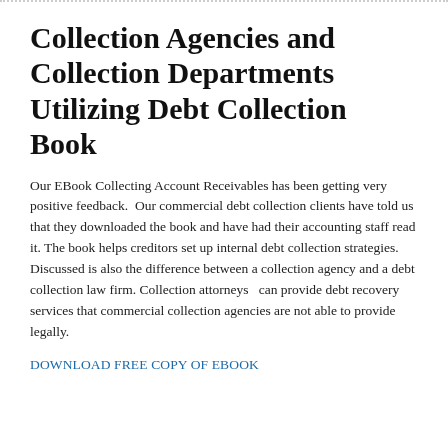Collection Agencies and Collection Departments Utilizing Debt Collection Book
Our EBook Collecting Account Receivables has been getting very positive feedback.  Our commercial debt collection clients have told us that they downloaded the book and have had their accounting staff read it. The book helps creditors set up internal debt collection strategies. Discussed is also the difference between a collection agency and a debt collection law firm. Collection attorneys   can provide debt recovery services that commercial collection agencies are not able to provide legally.
DOWNLOAD FREE COPY OF EBOOK